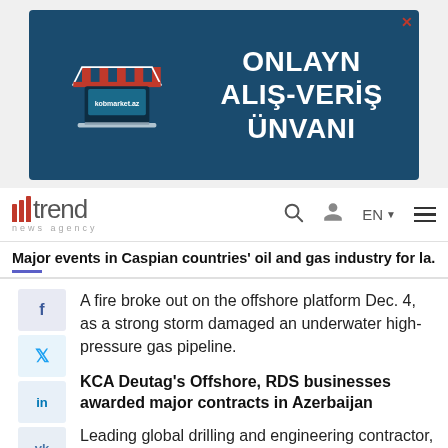[Figure (illustration): Advertisement banner for kobmarket.az showing a shop awning icon and text 'ONLAYN ALIŞ-VERİŞ ÜNVANI' on dark teal background]
[Figure (logo): Trend News Agency logo with red bar chart icon and grey 'trend' text, subtitle 'news agency']
Major events in Caspian countries' oil and gas industry for la...
A fire broke out on the offshore platform Dec. 4, as a strong storm damaged an underwater high-pressure gas pipeline.
KCA Deutag's Offshore, RDS businesses awarded major contracts in Azerbaijan
Leading global drilling and engineering contractor, KCA Deutag, has said it was awarded two contracts with BP Exploration (Caspian Sea) Limited (BP). The contracts...